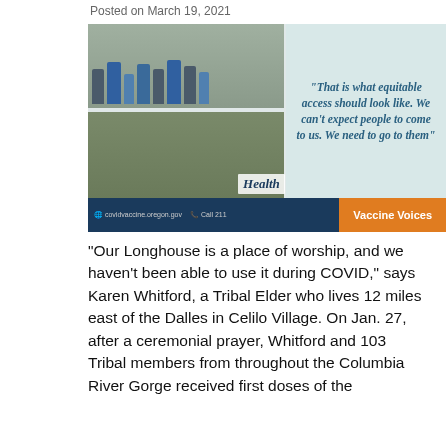Posted on March 19, 2021
[Figure (photo): Composite image showing a vaccine clinic event with people in masks, polaroid-style photo frames with 'I Got Vaccinated' signs, a quote box reading "That is what equitable access should look like. We can't expect people to come to us. We need to go to them", an Oregon Health logo, website covidvaccine.oregon.gov, Call 211, and an orange bar labeled 'Vaccine Voices']
“Our Longhouse is a place of worship, and we haven’t been able to use it during COVID,” says Karen Whitford, a Tribal Elder who lives 12 miles east of the Dalles in Celilo Village. On Jan. 27, after a ceremonial prayer, Whitford and 103 Tribal members from throughout the Columbia River Gorge received first doses of the